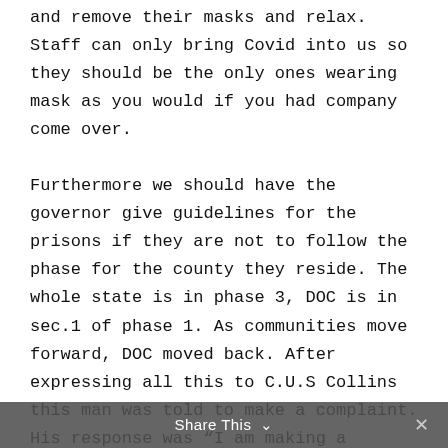and remove their masks and relax. Staff can only bring Covid into us so they should be the only ones wearing mask as you would if you had company come over.

Furthermore we should have the governor give guidelines for the prisons if they are not to follow the phase for the county they reside. The whole state is in phase 3, DOC is in sec.1 of phase 1. As communities move forward, DOC moved back. After expressing all this to C.U.S Collins this man was told to make a complaint. His response was “I am making a complaint.” Then he was told to yard in as they were gonna have a “Play Safety Muster.” Which is where they talk about safety in the units. When they should be talking about how punishing us for not following a written rule doesn’t
Share This